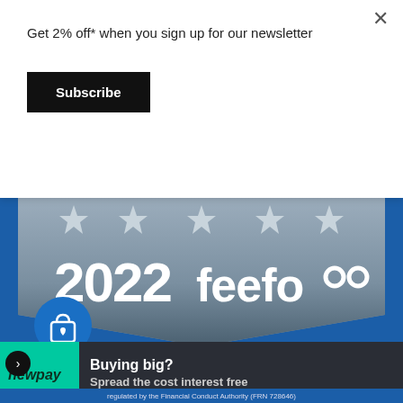Get 2% off* when you sign up for our newsletter
Subscribe
[Figure (logo): Feefo 2022 award badge — silver star ribbon banner on grey/blue background with '2022' and 'feefo' logo text, and a blue shopping bag with heart icon]
[Figure (logo): newpay logo on green background]
Buying big?
Spread the cost interest free
regulated by the Financial Conduct Authority (FRN 728646)